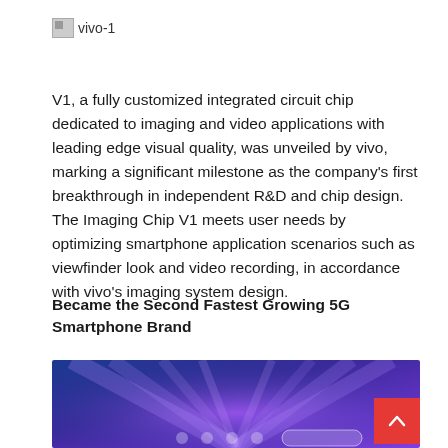[Figure (logo): Broken image placeholder labeled vivo-1 with small image icon and text]
V1, a fully customized integrated circuit chip dedicated to imaging and video applications with leading edge visual quality, was unveiled by vivo, marking a significant milestone as the company's first breakthrough in independent R&D and chip design. The Imaging Chip V1 meets user needs by optimizing smartphone application scenarios such as viewfinder look and video recording, in accordance with vivo's imaging system design.
Became the Second Fastest Growing 5G Smartphone Brand
[Figure (photo): Blue and purple gradient background with glowing light rays and vivo branding elements at the bottom, with a red scroll-to-top button in the bottom right corner]